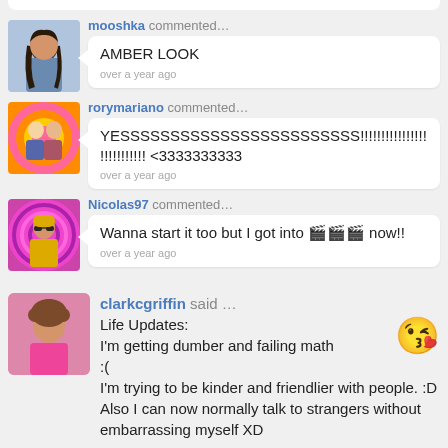mooshka commented… AMBER LOOK
over a year ago
rorymariano commented… YESSSSSSSSSSSSSSSSSSSSSSSS!!!!!!!!!!!!!!!!!!!!!!!!!!! <3333333333
over a year ago
Nicolas97 commented… Wanna start it too but I got into 🎬 now!!
over a year ago
clarkcgriffin said … Life Updates:
I'm getting dumber and failing math :(
I'm trying to be kinder and friendlier with people. :D
Also I can now normally talk to strangers without embarrassing myself XD